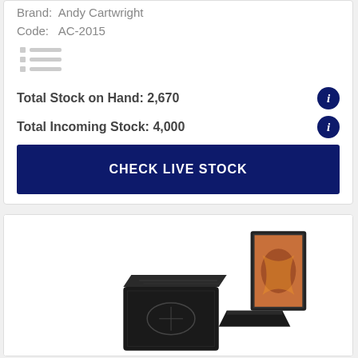Brand:  Andy Cartwright
Code:   AC-2015
[Figure (other): Small list/menu icon with three rows of lines]
Total Stock on Hand: 2,670
Total Incoming Stock: 4,000
CHECK LIVE STOCK
[Figure (photo): Product photo showing two dark-colored book or box products with artistic/illustrated covers, displayed open and closed]